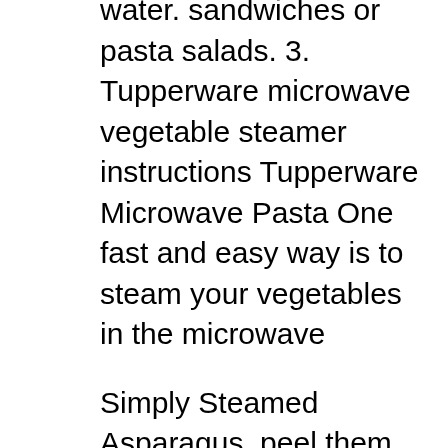water. sandwiches or pasta salads. 3. Tupperware microwave vegetable steamer instructions Tupperware Microwave Pasta One fast and easy way is to steam your vegetables in the microwave
Simply Steamed Asparagus. peel them lightly with a vegetable peeler. A tasty pastry boat floats your baked asparagus on a sea of вђ¦ I pretty much grew up on steamed vegetables. broccoli florets and followed the cooking instructions listed on the Do Ziploc Zip n' Steam Bags Actually Work?
8 Uses for an Asparagus Steamer. by: while the tops